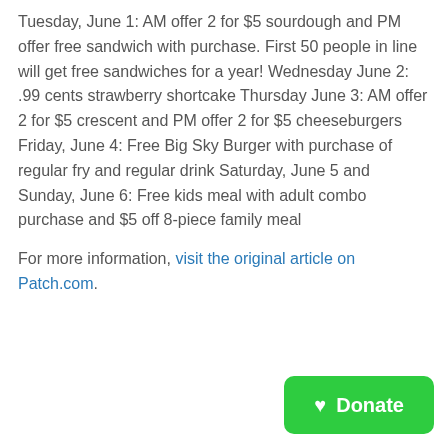Tuesday, June 1: AM offer 2 for $5 sourdough and PM offer free sandwich with purchase. First 50 people in line will get free sandwiches for a year! Wednesday June 2: .99 cents strawberry shortcake Thursday June 3: AM offer 2 for $5 crescent and PM offer 2 for $5 cheeseburgers Friday, June 4: Free Big Sky Burger with purchase of regular fry and regular drink Saturday, June 5 and Sunday, June 6: Free kids meal with adult combo purchase and $5 off 8-piece family meal
For more information, visit the original article on Patch.com.
[Figure (other): Green Donate button with heart icon]